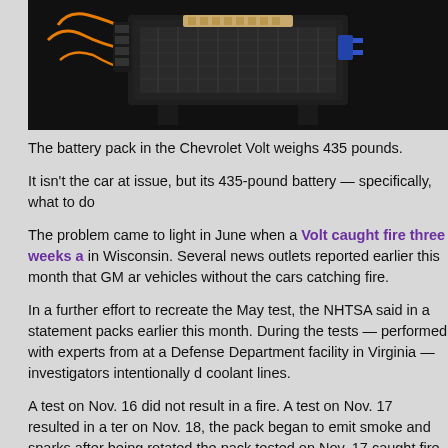[Figure (photo): Photo of a Chevrolet Volt battery pack — a heavy rectangular device with orange wiring and circuitry, photographed on a dark background.]
The battery pack in the Chevrolet Volt weighs 435 pounds.
It isn't the car at issue, but its 435-pound battery — specifically, what to do
The problem came to light in June when a Volt caught fire three weeks after a crash test in Wisconsin. Several news outlets reported earlier this month that GM and vehicles without the cars catching fire.
In a further effort to recreate the May test, the NHTSA said in a statement packs earlier this month. During the tests — performed with experts from at a Defense Department facility in Virginia — investigators intentionally damaged coolant lines.
A test on Nov. 16 did not result in a fire. A test on Nov. 17 resulted in a temperature on Nov. 18, the pack began to emit smoke and sparks after being rotated the pack tested on Nov. 17 caught fire.
“In each of the battery tests conducted in the past two weeks, the Volt’s battery side-impact collision into a narrow object such as a tree or a pole followed
The agency is still assessing the cause and implications of the fire, and G after the crash, but days or even weeks later.